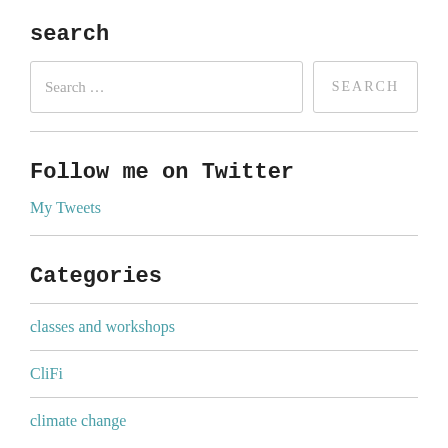search
[Figure (other): Search input field with placeholder 'Search …' and a SEARCH button]
Follow me on Twitter
My Tweets
Categories
classes and workshops
CliFi
climate change